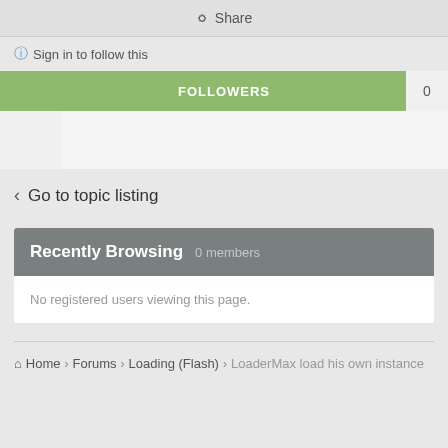Share
Sign in to follow this
FOLLOWERS 0
Go to topic listing
Recently Browsing   0 members
No registered users viewing this page.
Home > Forums > Loading (Flash) > LoaderMax load his own instance